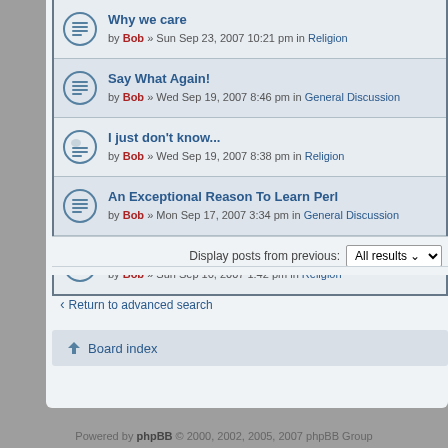Why we care — by Bob » Sun Sep 23, 2007 10:21 pm in Religion
Say What Again! — by Bob » Wed Sep 19, 2007 8:46 pm in General Discussion
I just don't know... — by Bob » Wed Sep 19, 2007 8:38 pm in Religion
An Exceptional Reason To Learn Perl — by Bob » Mon Sep 17, 2007 3:34 pm in General Discussion
The Way of The Master — by Bob » Sun Sep 16, 2007 1:42 pm in Religion
Display posts from previous: All results
Return to advanced search
Board index
Powered by phpBB © 2000, 2002, 2005, 2007 phpBB Group